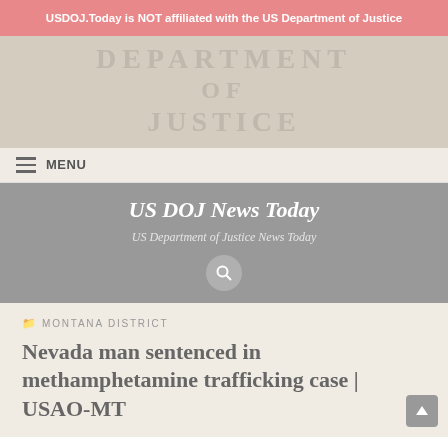USDOJ.Today is NOT affiliated with the US Department of Justice
[Figure (photo): Stone engraving of 'DEPARTMENT OF JUSTICE' text on a government building facade]
≡ MENU
US DOJ News Today
US Department of Justice News Today
🔍
MONTANA DISTRICT
Nevada man sentenced in methamphetamine trafficking case | USAO-MT